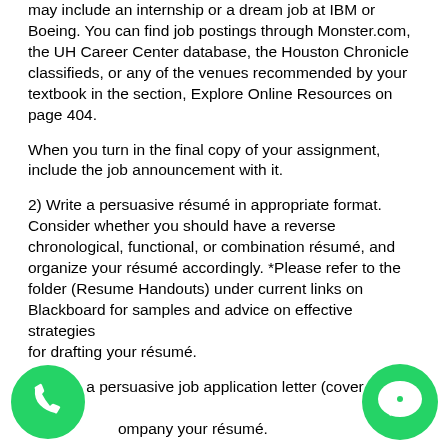may include an internship or a dream job at IBM or Boeing. You can find job postings through Monster.com, the UH Career Center database, the Houston Chronicle classifieds, or any of the venues recommended by your textbook in the section, Explore Online Resources on page 404.
When you turn in the final copy of your assignment, include the job announcement with it.
2) Write a persuasive résumé in appropriate format. Consider whether you should have a reverse chronological, functional, or combination résumé, and organize your résumé accordingly. *Please refer to the folder (Resume Handouts) under current links on Blackboard for samples and advice on effective strategies for drafting your résumé.
3) Write a persuasive job application letter (cover letter) to accompany your résumé.
A successful résumé will:
[Figure (logo): WhatsApp green circular logo with phone icon, bottom-left corner]
[Figure (logo): Green circular chat bubble icon with white dot, bottom-right corner]